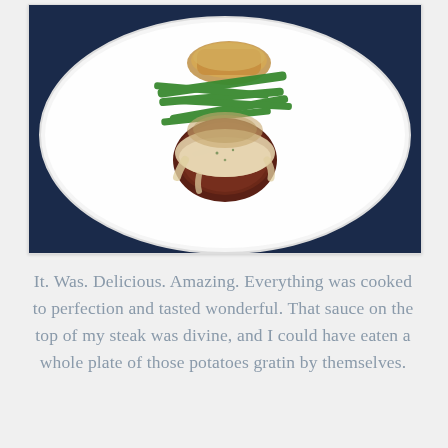[Figure (photo): A restaurant plate on a white platter with a filet of steak topped with cream sauce, green beans, and a crab cake or gratin on top, set against a blue tablecloth background.]
It. Was. Delicious. Amazing. Everything was cooked to perfection and tasted wonderful. That sauce on the top of my steak was divine, and I could have eaten a whole plate of those potatoes gratin by themselves.